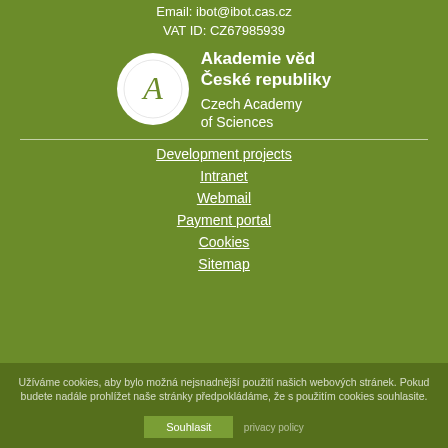Email: ibot@ibot.cas.cz
VAT ID: CZ67985939
[Figure (logo): Akademie věd České republiky / Czech Academy of Sciences logo with circular emblem containing stylized letter A]
Development projects
Intranet
Webmail
Payment portal
Cookies
Sitemap
Užíváme cookies, aby bylo možná nejsnadnější použití našich webových stránek. Pokud budete nadále prohlížet naše stránky předpokládáme, že s použitím cookies souhlasite.
Souhlasit   privacy policy